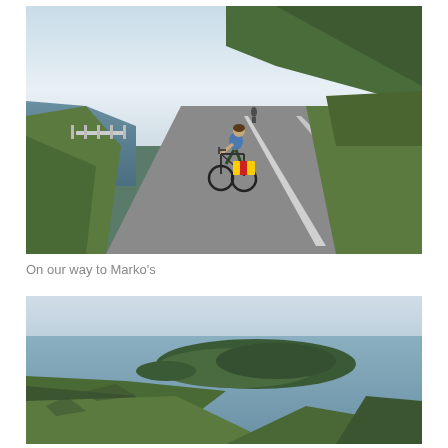[Figure (photo): A cyclist riding a loaded touring bicycle on a coastal road, with sea visible on the left and green hillside on the right. The bike has colorful red and yellow panniers. Another cyclist is visible further down the road.]
On our way to Marko’s
[Figure (photo): An aerial or elevated view of a coastal landscape showing a small wooded island or peninsula surrounded by calm blue-grey sea, with green vegetation in the foreground.]